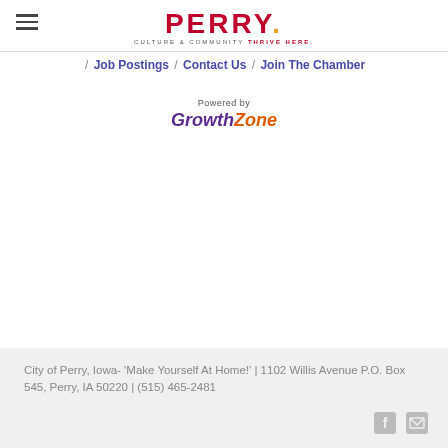[Figure (logo): Perry Iowa Chamber logo with hamburger menu icon. Logo reads PERRY with Culture & Community Thrive Here tagline.]
/ Job Postings / Contact Us / Join The Chamber
[Figure (logo): Powered by GrowthZone logo]
City of Perry, Iowa- 'Make Yourself At Home!' | 1102 Willis Avenue P.O. Box 545, Perry, IA 50220 | (515) 465-2481